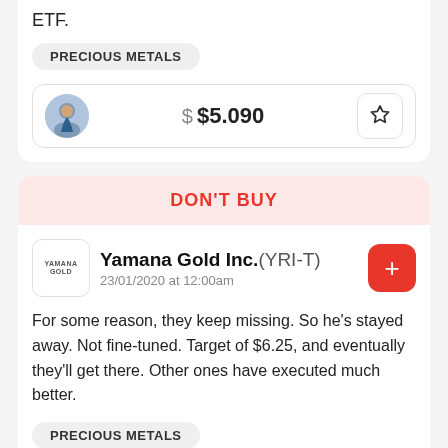ETF.
PRECIOUS METALS
$ $5.090
DON'T BUY
Yamana Gold Inc.(YRI-T)
23/01/2020 at 12:00am
For some reason, they keep missing. So he's stayed away. Not fine-tuned. Target of $6.25, and eventually they'll get there. Other ones have executed much better.
PRECIOUS METALS